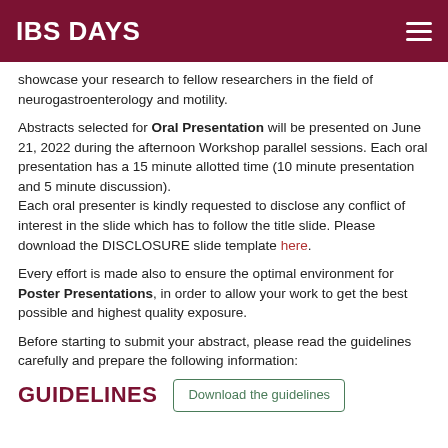IBS DAYS
showcase your research to fellow researchers in the field of neurogastroenterology and motility.
Abstracts selected for Oral Presentation will be presented on June 21, 2022 during the afternoon Workshop parallel sessions. Each oral presentation has a 15 minute allotted time (10 minute presentation and 5 minute discussion).
Each oral presenter is kindly requested to disclose any conflict of interest in the slide which has to follow the title slide. Please download the DISCLOSURE slide template here.
Every effort is made also to ensure the optimal environment for Poster Presentations, in order to allow your work to get the best possible and highest quality exposure.
Before starting to submit your abstract, please read the guidelines carefully and prepare the following information:
GUIDELINES
Download the guidelines